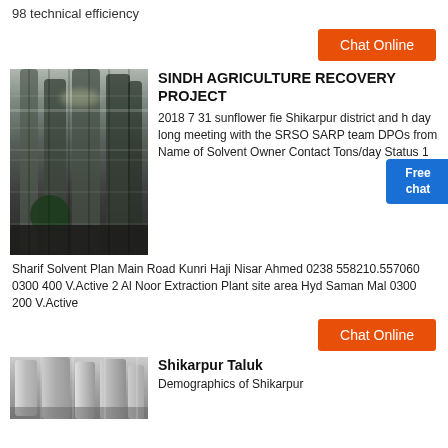98 technical efficiency
[Figure (other): Button labeled 'Chat Online' with orange background]
[Figure (photo): Industrial factory interior with large machinery, silos, and conveyors in a warehouse]
SINDH AGRICULTURE RECOVERY PROJECT
2018 7 31 sunflower fie Shikarpur district and h day long meeting with the SRSO SARP team DPOs from Name of Solvent Owner Contact Tons/day Status 1 Sharif Solvent Plan Main Road Kunri Haji Nisar Ahmed 0238 558210.557060 0300 400 V.Active 2 Al Noor Extraction Plant site area Hyd Saman Mal 0300 200 V.Active
[Figure (other): Button labeled 'Chat Online' with orange background]
Shikarpur Taluk
Demographics of Shikarpur
[Figure (photo): Industrial storage tanks or silos in a facility]